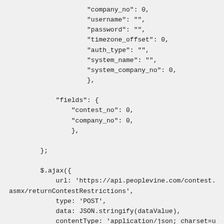"company_no": 0,
"username": "",
"password": "",
"timezone_offset": 0,
"auth_type": "",
"system_name": "",
"system_company_no": 0,
},

        "fields": {
            "contest_no": 0,
            "company_no": 0,
            },

    };

    $.ajax({
        url: 'https://api.peoplevine.com/contest.asmx/returnContestRestrictions',
        type: 'POST',
        data: JSON.stringify(dataValue),
        contentType: 'application/json; charset=utf-8',
        dataType: 'json',